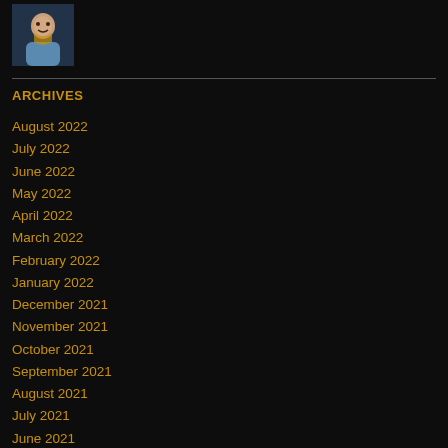[Figure (photo): Small profile photo of a smiling person, thumbnail size, positioned top-left corner]
ARCHIVES
August 2022
July 2022
June 2022
May 2022
April 2022
March 2022
February 2022
January 2022
December 2021
November 2021
October 2021
September 2021
August 2021
July 2021
June 2021
May 2021